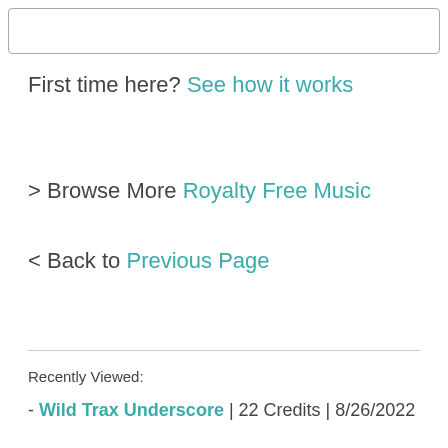[Figure (other): Empty search input box with rounded border]
First time here? See how it works
> Browse More Royalty Free Music
< Back to Previous Page
Recently Viewed:
- Wild Trax Underscore | 22 Credits | 8/26/2022